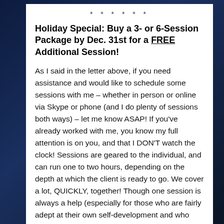* * * * * *
Holiday Special: Buy a 3- or 6-Session Package by Dec. 31st for a FREE Additional Session!
As I said in the letter above, if you need assistance and would like to schedule some sessions with me – whether in person or online via Skype or phone (and I do plenty of sessions both ways) – let me know ASAP! If you've already worked with me, you know my full attention is on you, and that I DON'T watch the clock! Sessions are geared to the individual, and can run one to two hours, depending on the depth at which the client is ready to go. We cover a lot, QUICKLY, together! Though one session is always a help (especially for those who are fairly adept at their own self-development and who might just need a boost or different perspective), packages of three or six sessions